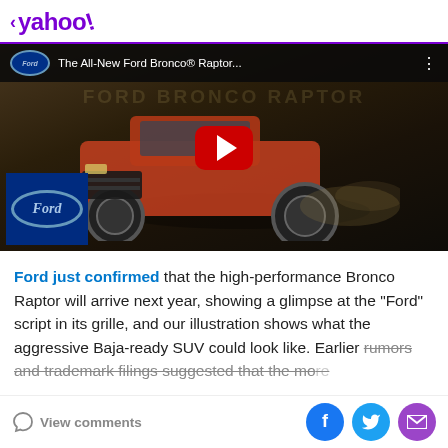< yahoo!
[Figure (screenshot): YouTube-style video thumbnail showing the All-New Ford Bronco Raptor with a red play button, Ford logo badge, and dark header bar with title text 'The All-New Ford Bronco® Raptor...']
Ford just confirmed that the high-performance Bronco Raptor will arrive next year, showing a glimpse at the "Ford" script in its grille, and our illustration shows what the aggressive Baja-ready SUV could look like. Earlier rumors and trademark filings suggested that the more
View comments